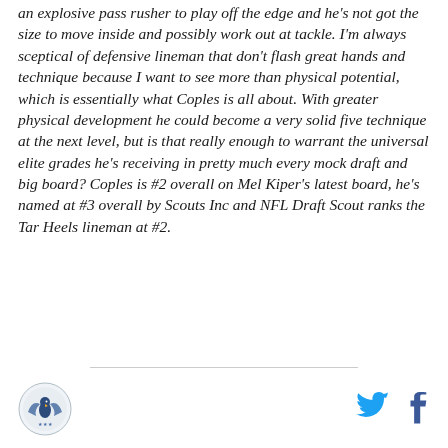an explosive pass rusher to play off the edge and he's not got the size to move inside and possibly work out at tackle. I'm always sceptical of defensive lineman that don't flash great hands and technique because I want to see more than physical potential, which is essentially what Coples is all about. With greater physical development he could become a very solid five technique at the next level, but is that really enough to warrant the universal elite grades he's receiving in pretty much every mock draft and big board? Coples is #2 overall on Mel Kiper's latest board, he's named at #3 overall by Scouts Inc and NFL Draft Scout ranks the Tar Heels lineman at #2.
[Figure (logo): SB Nation logo - circular emblem with eagle/bird motif in blue and grey]